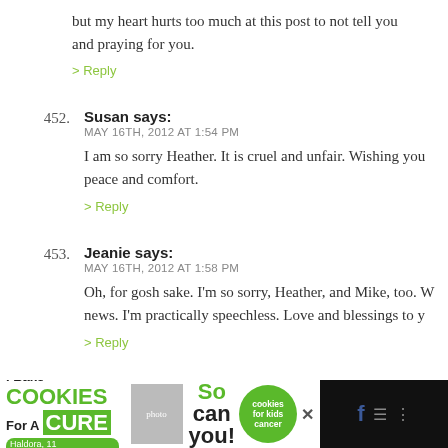but my heart hurts too much at this post to not tell you and praying for you.
> Reply
452. Susan says: MAY 16TH, 2012 AT 1:54 PM
I am so sorry Heather. It is cruel and unfair. Wishing you peace and comfort.
> Reply
453. Jeanie says: MAY 16TH, 2012 AT 1:58 PM
Oh, for gosh sake. I'm so sorry, Heather, and Mike, too. news. I'm practically speechless. Love and blessings to y
> Reply
454. J from Ireland says: MAY 16TH, 2012 AT 2:02 PM
[Figure (infographic): Advertisement banner: I Bake COOKIES For A CURE - Haldora, 11 Cancer Survivor - So can you! cookies for kids cancer, with close and social media icons]